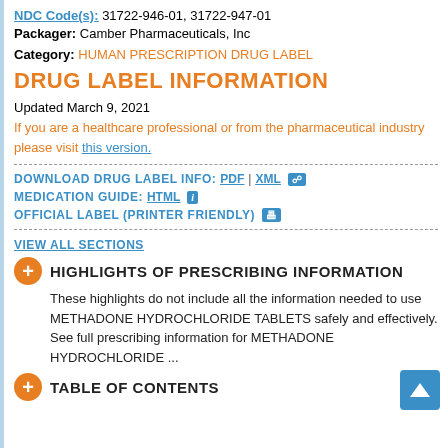NDC Code(s): 31722-946-01, 31722-947-01
Packager: Camber Pharmaceuticals, Inc
Category: HUMAN PRESCRIPTION DRUG LABEL
DRUG LABEL INFORMATION
Updated March 9, 2021
If you are a healthcare professional or from the pharmaceutical industry please visit this version.
DOWNLOAD DRUG LABEL INFO: PDF | XML
MEDICATION GUIDE: HTML
OFFICIAL LABEL (PRINTER FRIENDLY)
VIEW ALL SECTIONS
HIGHLIGHTS OF PRESCRIBING INFORMATION
These highlights do not include all the information needed to use METHADONE HYDROCHLORIDE TABLETS safely and effectively. See full prescribing information for METHADONE HYDROCHLORIDE ...
TABLE OF CONTENTS